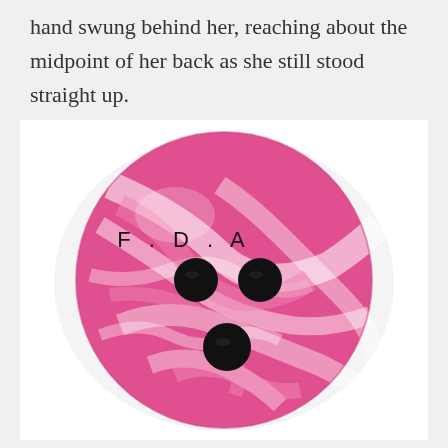hand swung behind her, reaching about the midpoint of her back as she still stood straight up.
[Figure (photo): A pink marbled bowling ball with three finger holes arranged in a triangle. The letters 'F . D . A' are engraved above the two upper finger holes.]